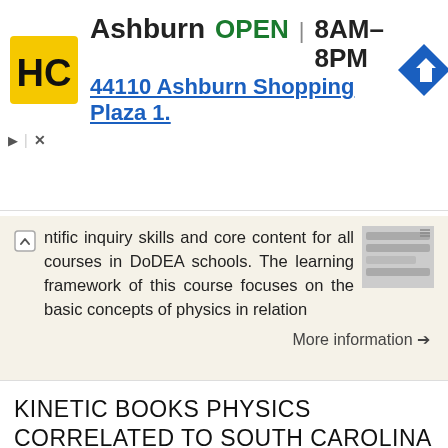[Figure (infographic): Ad banner for Hairclub (HC) store in Ashburn. Yellow/black HC logo, store name 'Ashburn', status 'OPEN', hours '8AM-8PM', address '44110 Ashburn Shopping Plaza 1.', and a blue navigation arrow icon. Controls for play and close.]
ntific inquiry skills and core content for all courses in DoDEA schools. The learning framework of this course focuses on the basic concepts of physics in relation
More information →
KINETIC BOOKS PHYSICS CORRELATED TO SOUTH CAROLINA PHYSICS STANDARDS CORRELATION
Virtual Standard P-1: The student will demonstrate an understanding of how scientific inquiry and technological design, including mathematical analysis, can be used appropriately to pose questions, seek